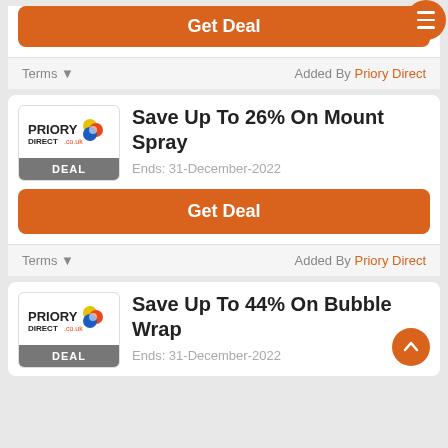Get Deal
Terms ▾    Added By Priory Direct
Save Up To 26% On Mount Spray
Ends: 31-December-2022
Get Deal
Terms ▾    Added By Priory Direct
Save Up To 44% On Bubble Wrap
Ends: 31-December-2022